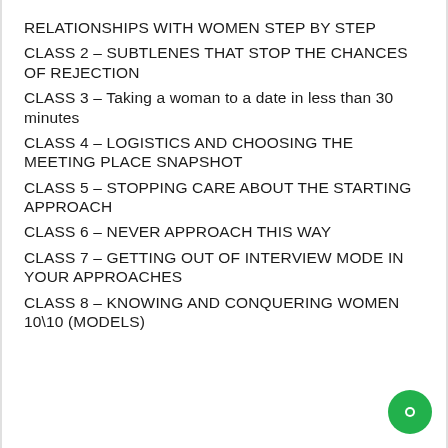RELATIONSHIPS WITH WOMEN STEP BY STEP
CLASS 2 – SUBTLENES THAT STOP THE CHANCES OF REJECTION
CLASS 3 – Taking a woman to a date in less than 30 minutes
CLASS 4 – LOGISTICS AND CHOOSING THE MEETING PLACE SNAPSHOT
CLASS 5 – STOPPING CARE ABOUT THE STARTING APPROACH
CLASS 6 – NEVER APPROACH THIS WAY
CLASS 7 – GETTING OUT OF INTERVIEW MODE IN YOUR APPROACHES
CLASS 8 – KNOWING AND CONQUERING WOMEN 10\10 (MODELS)